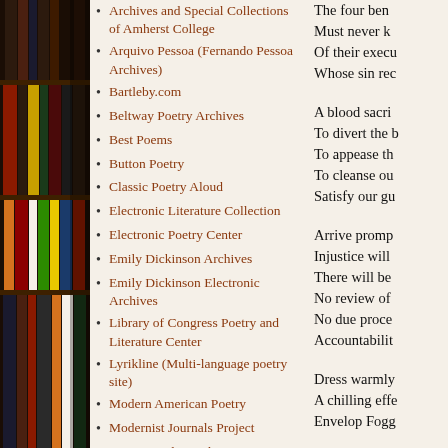[Figure (photo): Bookshelf with colorful book spines visible on the left side of the page]
Archives and Special Collections of Amherst College
Arquivo Pessoa (Fernando Pessoa Archives)
Bartleby.com
Beltway Poetry Archives
Best Poems
Button Poetry
Classic Poetry Aloud
Electronic Literature Collection
Electronic Poetry Center
Emily Dickinson Archives
Emily Dickinson Electronic Archives
Library of Congress Poetry and Literature Center
Lyrikline (Multi-language poetry site)
Modern American Poetry
Modernist Journals Project
Naropa Audio Archives
The four ben
Must never k
Of their execu
Whose sin rec

A blood sacri
To divert the b
To appease th
To cleanse ou
Satisfy our gu

Arrive promp
Injustice will
There will be
No review of
No due proce
Accountabilit

Dress warmly
A chilling effe
Envelop Fogg